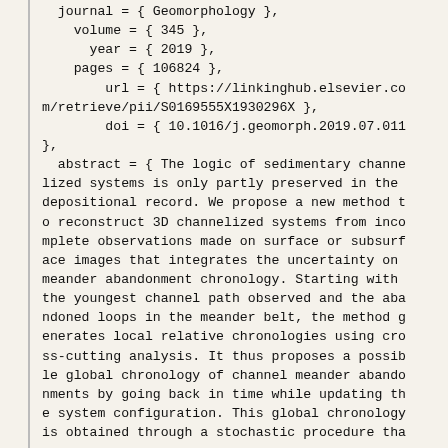journal = { Geomorphology },
  volume = { 345 },
    year = { 2019 },
  pages = { 106824 },
      url = { https://linkinghub.elsevier.com/retrieve/pii/S0169555X1930296X },
      doi = { 10.1016/j.geomorph.2019.07.011
},
  abstract = { The logic of sedimentary channelized systems is only partly preserved in the depositional record. We propose a new method to reconstruct 3D channelized systems from incomplete observations made on surface or subsurface images that integrates the uncertainty on meander abandonment chronology. Starting with the youngest channel path observed and the abandoned loops in the meander belt, the method generates local relative chronologies using cross-cutting analysis. It thus proposes a possible global chronology of channel meander abandonments by going back in time while updating the system configuration. This global chronology is obtained through a stochastic procedure tha